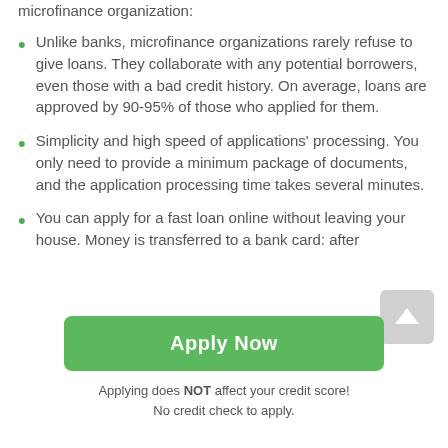microfinance organization:
Unlike banks, microfinance organizations rarely refuse to give loans. They collaborate with any potential borrowers, even those with a bad credit history. On average, loans are approved by 90-95% of those who applied for them.
Simplicity and high speed of applications' processing. You only need to provide a minimum package of documents, and the application processing time takes several minutes.
You can apply for a fast loan online without leaving your house. Money is transferred to a bank card: after
Apply Now
Applying does NOT affect your credit score!
No credit check to apply.